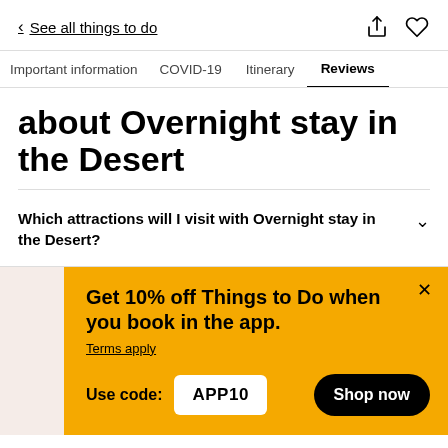< See all things to do
Important information | COVID-19 | Itinerary | Reviews
about Overnight stay in the Desert
Which attractions will I visit with Overnight stay in the Desert?
Get 10% off Things to Do when you book in the app. Terms apply. Use code: APP10  Shop now